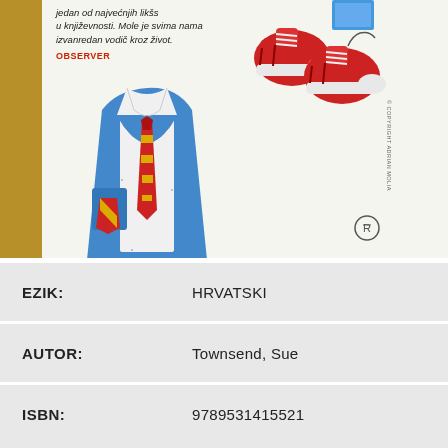[Figure (illustration): Book cover showing a blue school sweater with a red and yellow tie and crest badge, plus a pair of red sneakers/trainers. Text in italic at top left reads in Croatian. Observer label in red. Gold spine on left. Rotated publisher text on right side. Copyright symbol circle at bottom right.]
| EZIK: | HRVATSKI |
| AUTOR: | Townsend, Sue |
| ISBN: | 9789531415521 |